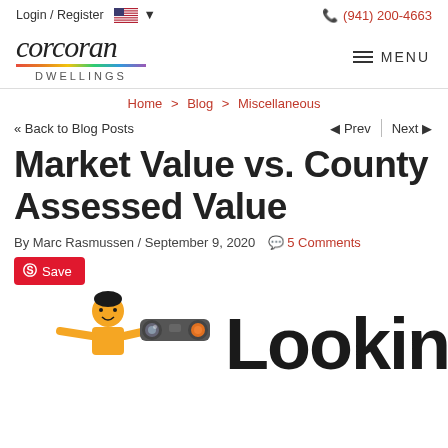Login / Register  (941) 200-4663
[Figure (logo): Corcoran Dwellings logo with italic script text and rainbow underbar]
Home > Blog > Miscellaneous
<< Back to Blog Posts   Prev  Next >>
Market Value vs. County Assessed Value
By Marc Rasmussen / September 9, 2020  5 Comments
Save
[Figure (illustration): Cartoon person looking through binoculars with large 'Looking' text]